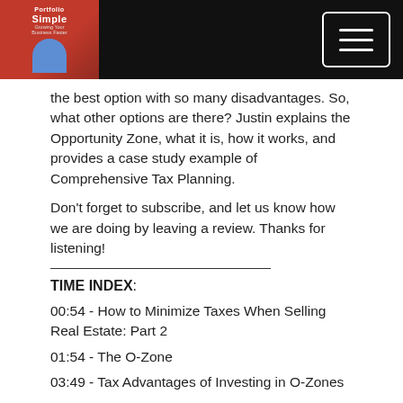[Figure (logo): Portfolio Simple podcast logo with red background and person image]
the best option with so many disadvantages. So, what other options are there? Justin explains the Opportunity Zone, what it is, how it works, and provides a case study example of Comprehensive Tax Planning.
Don't forget to subscribe, and let us know how we are doing by leaving a review. Thanks for listening!
TIME INDEX:
00:54 - How to Minimize Taxes When Selling Real Estate: Part 2
01:54 - The O-Zone
03:49 - Tax Advantages of Investing in O-Zones
05:11 - The Process
06:43 - Case Study Example